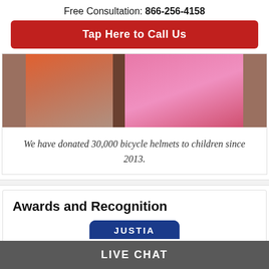Free Consultation: 866-256-4158
Tap Here to Call Us
[Figure (photo): Partial view of two children, one in orange/red clothing and one in pink cardigan, standing near boxes.]
We have donated 30,000 bicycle helmets to children since 2013.
Awards and Recognition
[Figure (logo): Justia 10.0 rating badge with dark blue top section labeled JUSTIA and white bottom section showing 10.0 in red.]
LIVE CHAT